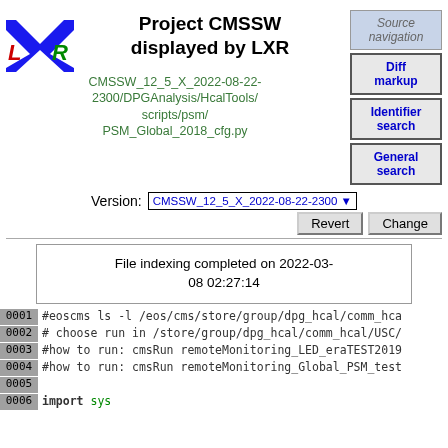Project CMSSW displayed by LXR
CMSSW_12_5_X_2022-08-22-2300/DPGAnalysis/HcalTools/scripts/psm/PSM_Global_2018_cfg.py
Source navigation
Diff markup
Identifier search
General search
Version: CMSSW_12_5_X_2022-08-22-2300
Revert  Change
File indexing completed on 2022-03-08 02:27:14
0001 #eoscms ls -l /eos/cms/store/group/dpg_hcal/comm_hca
0002 # choose run in /store/group/dpg_hcal/comm_hcal/USC/
0003 #how to run: cmsRun remoteMonitoring_LED_eraTEST2019
0004 #how to run: cmsRun remoteMonitoring_Global_PSM_test
0005
0006 import sys